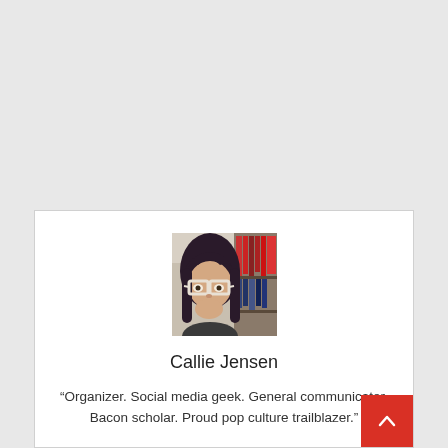[Figure (photo): Profile photo of Callie Jensen — a woman with long dark hair and white-framed glasses, smiling, with bookshelves in the background]
Callie Jensen
“Organizer. Social media geek. General communicator. Bacon scholar. Proud pop culture trailblazer.”